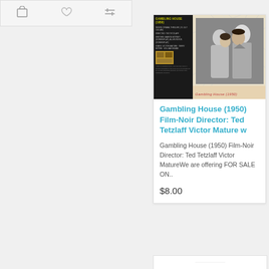[Figure (screenshot): Toolbar with shopping cart, heart/wishlist, and compare icons on a light gray background]
[Figure (photo): Product image composite: left dark panel with Gambling House (1950) film details in yellow/white text on black background with small thumbnail; right panel shows a black-and-white photo of a couple (man and woman) close together with geometric line overlay on beige background, captioned 'Gambling House (1950)']
Gambling House (1950) Film-Noir Director: Ted Tetzlaff Victor Mature w
Gambling House (1950) Film-Noir Director: Ted Tetzlaff Victor MatureWe are offering FOR SALE ON..
$8.00